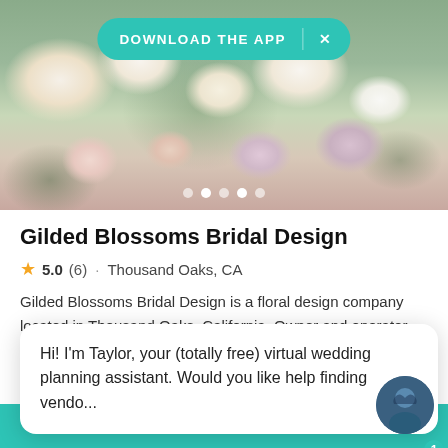[Figure (photo): Floral arrangement of white and pink roses, eucalyptus, and mixed flowers as hero image]
DOWNLOAD THE APP
Gilded Blossoms Bridal Design
5.0 (6) · Thousand Oaks, CA
Gilded Blossoms Bridal Design is a floral design company located in Thousand Oaks, California. Owner and operator Nahid… Read more
$3,00
Hi! I'm Taylor, your (totally free) virtual wedding planning assistant. Would you like help finding vendo...